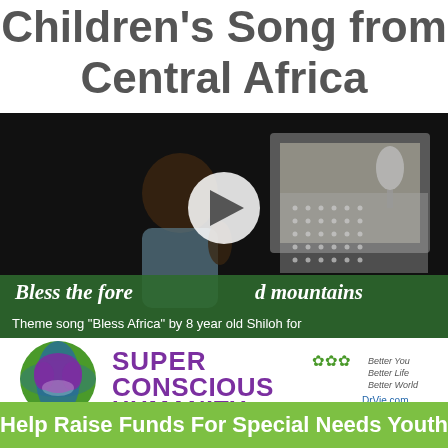Children's Song from Central Africa
[Figure (screenshot): Video thumbnail showing a child singing in a recording studio with the text 'Bless the forests and mountains' on a green banner, and 'Theme song "Bless Africa" by 8 year old Shiloh for' below, with a play button overlay. Below the video is a Super Conscious Humanity logo with DrVie.com branding.]
Help Raise Funds For Special Needs Youth